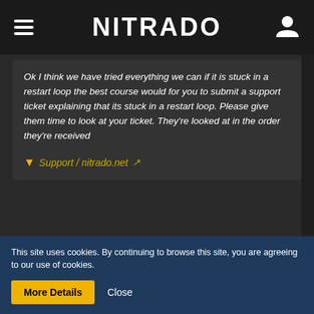NITRADO
Ok I think we have tried everything we can if it is stuck in a restart loop the best course would for you to submit a support ticket explaining that its stuck in a restart loop. Please give them time to look at your ticket. They're looked at in the order they're received
Support / nitrado.net
just submit a ticket. I appreciate the help
Rondeau04
MODERATOR
This site uses cookies. By continuing to browse this site, you are agreeing to our use of cookies.